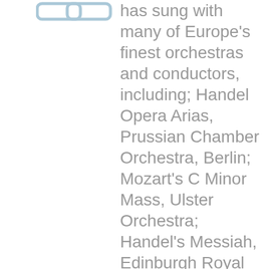[Figure (illustration): A small icon/logo showing two overlapping rounded rectangles or a similar graphic in a pale blue/grey color]
has sung with many of Europe's finest orchestras and conductors, including; Handel Opera Arias, Prussian Chamber Orchestra, Berlin; Mozart's C Minor Mass, Ulster Orchestra; Handel's Messiah, Edinburgh Royal Choral Union, Usher Hall; Gondai's Rapid Welcoming Descent (premier), The Philharmonia, Royal Festival Hall; Brahms'